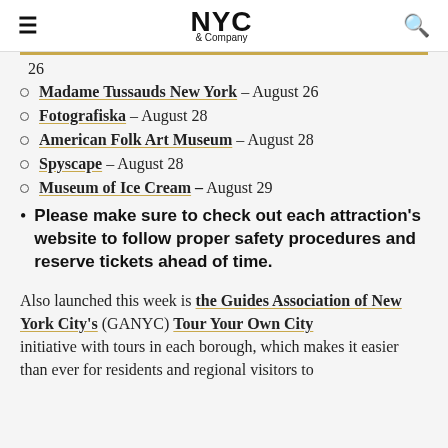NYC & Company
26 (partial, continuation)
Madame Tussauds New York – August 26
Fotografiska – August 28
American Folk Art Museum – August 28
Spyscape – August 28
Museum of Ice Cream – August 29
Please make sure to check out each attraction's website to follow proper safety procedures and reserve tickets ahead of time.
Also launched this week is the Guides Association of New York City's (GANYC) Tour Your Own City initiative with tours in each borough, which makes it easier than ever for residents and regional visitors to